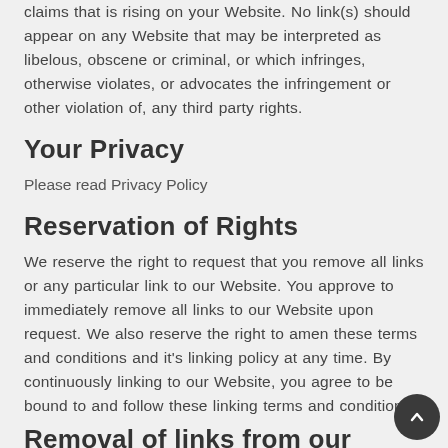claims that is rising on your Website. No link(s) should appear on any Website that may be interpreted as libelous, obscene or criminal, or which infringes, otherwise violates, or advocates the infringement or other violation of, any third party rights.
Your Privacy
Please read Privacy Policy
Reservation of Rights
We reserve the right to request that you remove all links or any particular link to our Website. You approve to immediately remove all links to our Website upon request. We also reserve the right to amen these terms and conditions and it's linking policy at any time. By continuously linking to our Website, you agree to be bound to and follow these linking terms and conditions.
Removal of links from our website